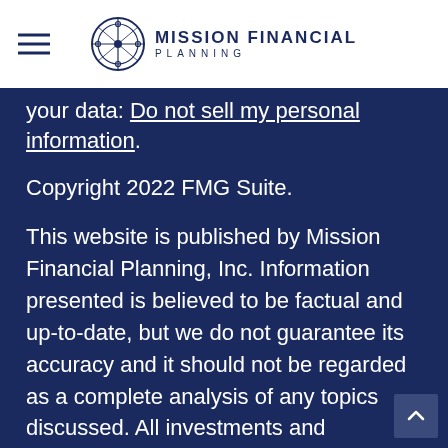Mission Financial Planning
your data: Do not sell my personal information.
Copyright 2022 FMG Suite.
This website is published by Mission Financial Planning, Inc. Information presented is believed to be factual and up-to-date, but we do not guarantee its accuracy and it should not be regarded as a complete analysis of any topics discussed. All investments and investment strategies have the potential for profit or loss. Content should not be viewed as an offer to buy or sell any of the securities mentioned or as personalized financial advice. Photographs are not of current or former clients. See details